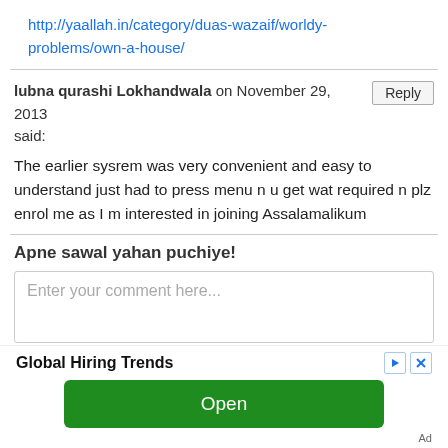http://yaallah.in/category/duas-wazaif/worldy-problems/own-a-house/
lubna qurashi Lokhandwala on November 29, 2013 said:
The earlier sysrem was very convenient and easy to understand just had to press menu n u get wat required n plz enrol me as I m interested in joining Assalamalikum
Apne sawal yahan puchiye!
Enter your comment here...
Global Hiring Trends
Open
Ad